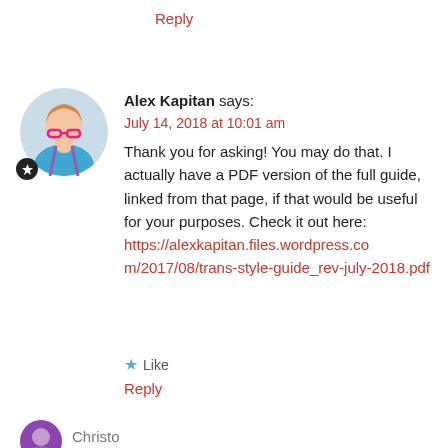Reply
[Figure (photo): Circular avatar photo of Alex Kapitan with a star badge overlay, person wearing blue top with pink glasses prop]
Alex Kapitan says:
July 14, 2018 at 10:01 am
Thank you for asking! You may do that. I actually have a PDF version of the full guide, linked from that page, if that would be useful for your purposes. Check it out here:
https://alexkapitan.files.wordpress.com/2017/08/trans-style-guide_rev-july-2018.pdf
Like
Reply
[Figure (photo): Partial circular avatar of another commenter, purple/dark colored]